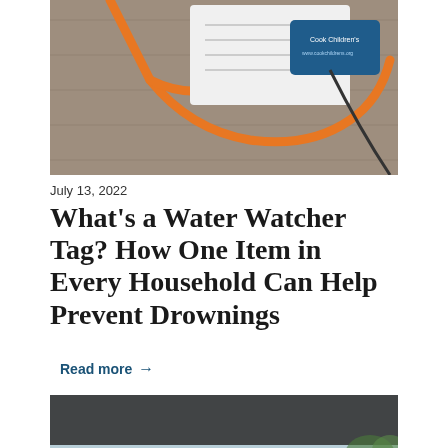[Figure (photo): Photo of a Water Watcher Tag — an orange lanyard with a card/badge on a wooden surface, with a Cook Children's branded card visible]
July 13, 2022
What's a Water Watcher Tag? How One Item in Every Household Can Help Prevent Drownings
Read more →
[Figure (photo): Photo of two young children (viewed from above/behind) near a pool with blue water, outdoors with playground equipment visible in background]